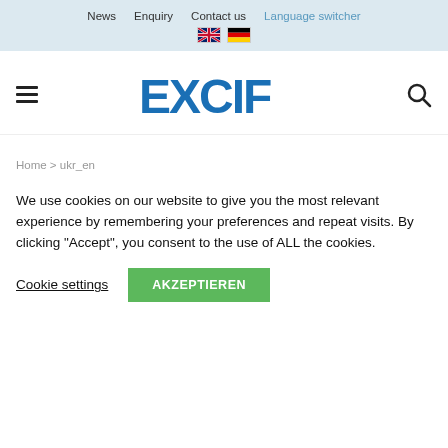News  Enquiry  Contact us  Language switcher
[Figure (logo): EXCIF logo in blue with stylized X]
Home > ukr_en
We use cookies on our website to give you the most relevant experience by remembering your preferences and repeat visits. By clicking “Accept”, you consent to the use of ALL the cookies.
Cookie settings   AKZEPTIEREN